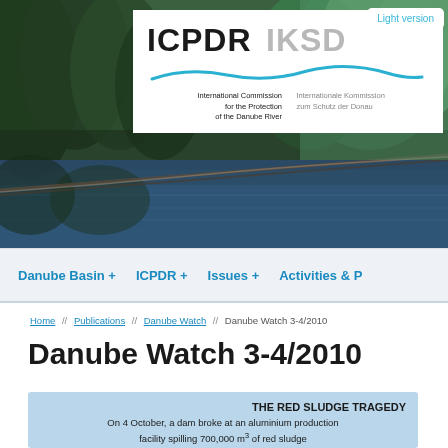[Figure (photo): River/water scene with trees and foliage, ICPDR IKSD logo overlay on white background, navigation header of the ICPDR website]
Light version
Danube Basin +  ICPDR +  Issues +  Activities & P
Home // Publications // Danube Watch // Danube Watch 3-4/2010
Danube Watch 3-4/2010
THE RED SLUDGE TRAGEDY
On 4 October, a dam broke at an aluminium production facility spilling 700,000 m³ of red sludge